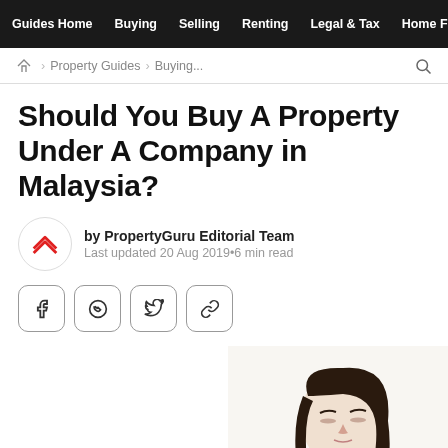Guides Home  Buying  Selling  Renting  Legal & Tax  Home Fi
🏠 > Property Guides > Buying...
Should You Buy A Property Under A Company in Malaysia?
by PropertyGuru Editorial Team
Last updated 20 Aug 2019•6 min read
[Figure (other): Social sharing buttons: Facebook, WhatsApp, Twitter, Link]
[Figure (photo): Photo of a young Asian woman looking downward, shown from shoulders up against a white background]